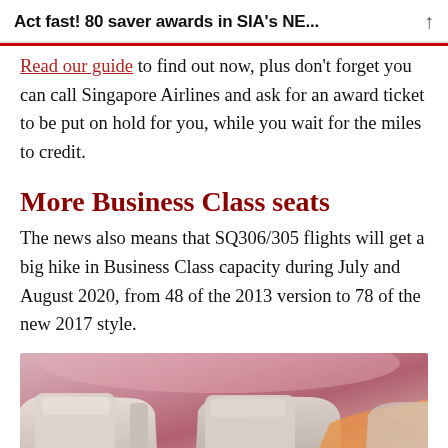Act fast! 80 saver awards in SIA's NE...
Read our guide to find out now, plus don't forget you can call Singapore Airlines and ask for an award ticket to be put on hold for you, while you wait for the miles to credit.
More Business Class seats
The news also means that SQ306/305 flights will get a big hike in Business Class capacity during July and August 2020, from 48 of the 2013 version to 78 of the new 2017 style.
[Figure (photo): Photo of Singapore Airlines Business Class seats interior, showing cream-colored reclined seats with pink/purple ambient lighting]